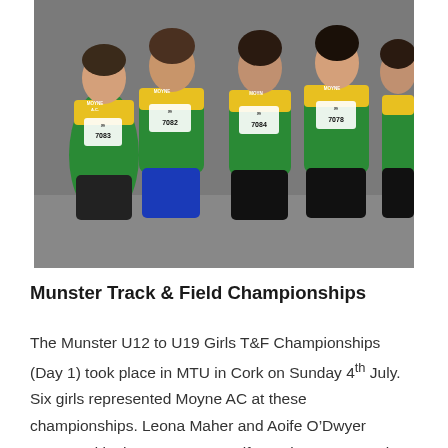[Figure (photo): Group photo of six young female athletes wearing green and yellow Moyne AC jerseys with race bib numbers 7083, 7082, 7084, 7078, posing together indoors.]
Munster Track & Field Championships
The Munster U12 to U19 Girls T&F Championships (Day 1) took place in MTU in Cork on Sunday 4th July. Six girls represented Moyne AC at these championships. Leona Maher and Aoife O'Dwyer competed in the U18 200m. Aoife ran in Heat 1 coming 3rd in 27.74 while Leona ran in Heat 2 coming 4th in 27.87 ensuring qualification in the final for both girls. Aoife was 5th in the final in a